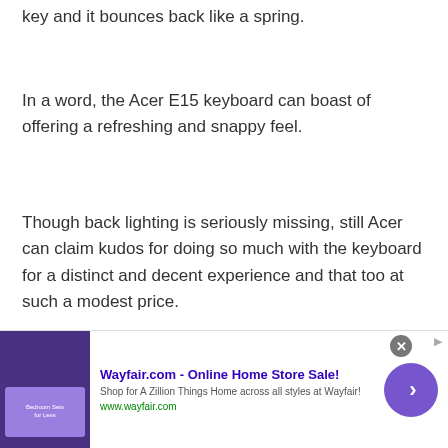key and it bounces back like a spring.
In a word, the Acer E15 keyboard can boast of offering a refreshing and snappy feel.
Though back lighting is seriously missing, still Acer can claim kudos for doing so much with the keyboard for a distinct and decent experience and that too at such a modest price.
Audio: If have a bit of entertainment bug, nice
[Figure (screenshot): Wayfair.com advertisement banner showing 'Online Home Store Sale!' with shop link and a purple bedroom sets image, with a navigation arrow button]